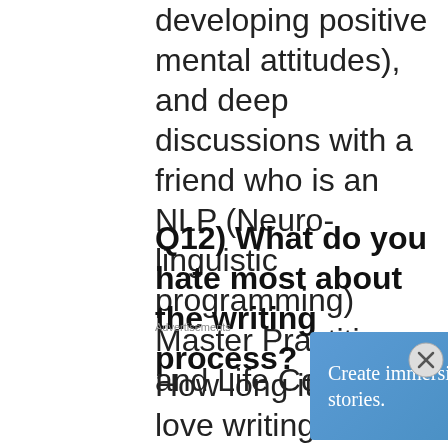developing positive mental attitudes), and deep discussions with a friend who is an NLP (Neuro-linguistic programming) Master Practitioner and Life Coach.
Q12) What do you hate most about the writing process?
How long it takes! I love writing, and I adore editing, if only it could be a -
Advertisements
[Figure (other): WordPress advertisement banner: 'Create immersive stories.' with GET THE APP button and WordPress logo]